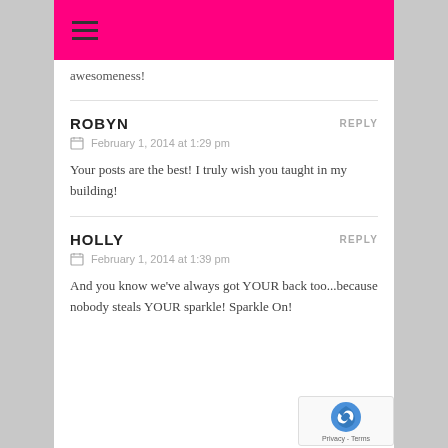≡ (hamburger menu)
awesomeness!
ROBYN
REPLY
February 1, 2014 at 1:29 pm
Your posts are the best! I truly wish you taught in my building!
HOLLY
REPLY
February 1, 2014 at 1:39 pm
And you know we've always got YOUR back too...because nobody steals YOUR sparkle! Sparkle On!